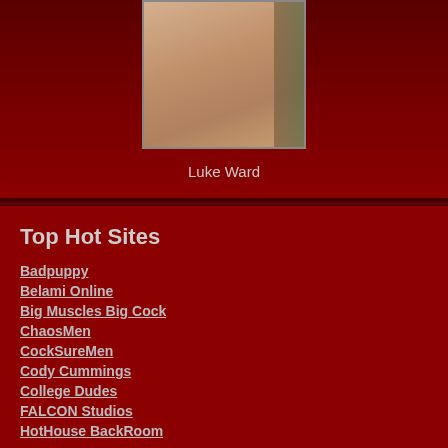[Figure (photo): Photo of Luke Ward, a muscular male figure]
Luke Ward
Top Hot Sites
Badpuppy
Belami Online
Big Muscles Big Cock
ChaosMen
CockSureMen
Cody Cummings
College Dudes
FALCON Studios
HotHouse BackRoom